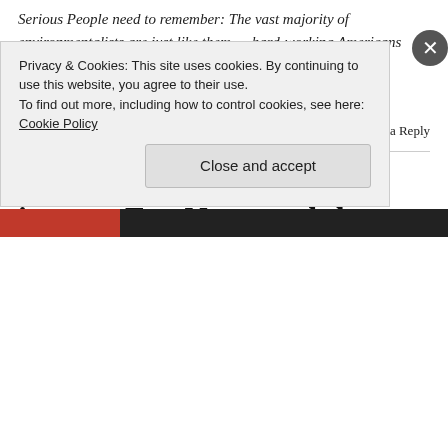Serious People need to remember: The vast majority of environmentalists are just like them — hard-working Americans who want a livable planet for their families.
via The Green Movement isn't fringe! – Salon.com.
March 5, 2013    💬 Leave a Reply
How OWS confuses and ignores Fox News and the
Privacy & Cookies: This site uses cookies. By continuing to use this website, you agree to their use.
To find out more, including how to control cookies, see here: Cookie Policy